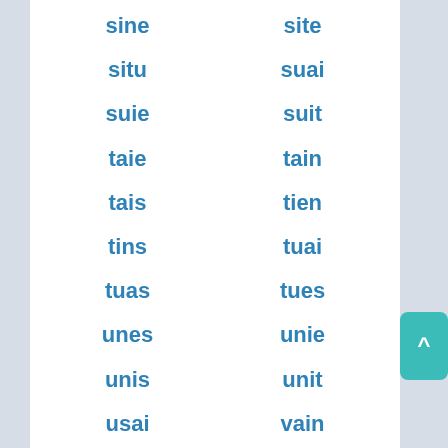sine
site
situ
suai
suie
suit
taie
tain
tais
tien
tins
tuai
tuas
tues
unes
unie
unis
unit
usai
vain
vais
vans